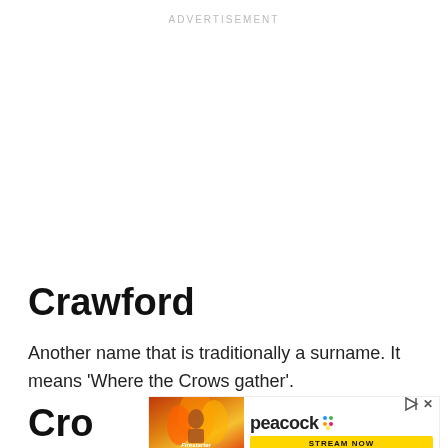ADVERTISEMENT
Crawford
Another name that is traditionally a surname. It means ‘Where the Crows gather’.
Cro
[Figure (other): Advertisement banner for Peacock streaming service featuring Firestarter movie imagery with a woman surrounded by fire on the left, and the Peacock logo with 'STREAM NOW' button on the right]